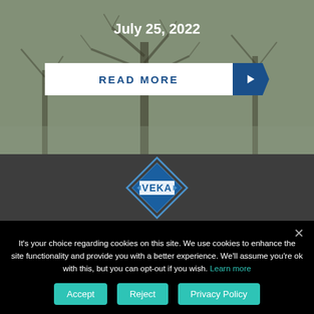[Figure (photo): Background photo of bare winter trees with grey/green muted tones]
July 25, 2022
READ MORE
[Figure (logo): VEKA logo - blue diamond shape with VEKA text inside on dark grey background]
It's your choice regarding cookies on this site. We use cookies to enhance the site functionality and provide you with a better experience. We'll assume you're ok with this, but you can opt-out if you wish. Learn more
Accept
Reject
Privacy Policy